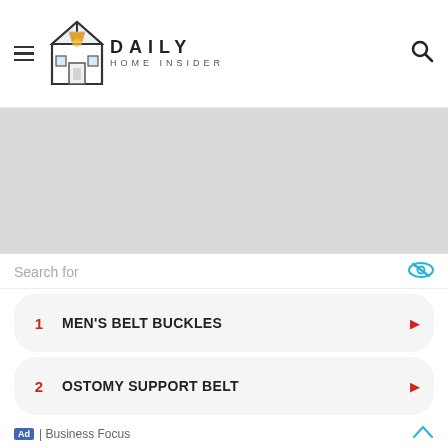Daily Home Insider
[Figure (other): Gray advertisement placeholder area]
The great board 3 gun belt has been manufactured with a rigid design. The rigid design enables it to hold all your gear in place. You will look like a commando when you consider wearing this 3 gun belt. One feature you will love like most people in this 3 gun belt is that it comes with two piece design. It is good to know that the flexibility of this 3 gun belt and its overall sturdiness is just perfect.
[Figure (infographic): Ad widget: Search bar with eye icon, two search result rows (1. MEN'S BELT BUCKLES, 2. OSTOMY SUPPORT BELT), footer with Ad badge and Business Focus label]